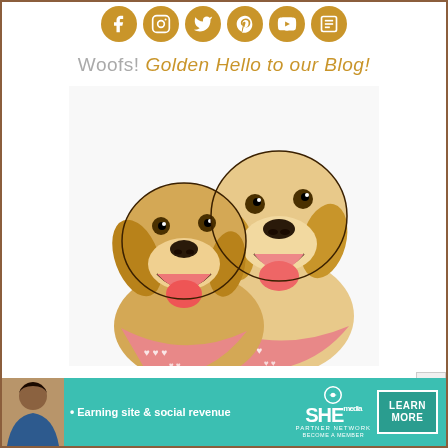[Figure (illustration): Row of six golden/brown circular social media icons: Facebook, Instagram, Twitter, Pinterest, YouTube, and a newspaper/blog icon]
Woofs! Golden Hello to our Blog!
[Figure (illustration): Illustrated artwork of two golden retrievers wearing pink bandanas with white hearts, both smiling with tongues out]
[Figure (infographic): SHE Partner Network advertisement banner with a woman's photo, text 'Earning site & social revenue', SHE logo, and a 'LEARN MORE' button on teal background]